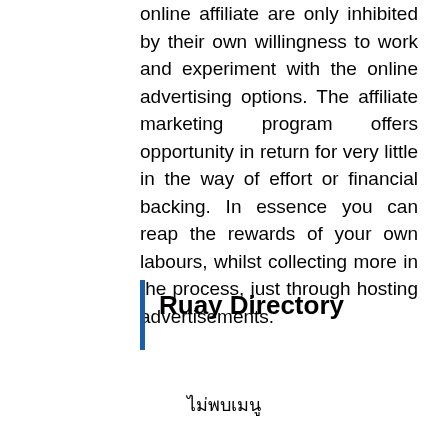online affiliate are only inhibited by their own willingness to work and experiment with the online advertising options. The affiliate marketing program offers opportunity in return for very little in the way of effort or financial backing. In essence you can reap the rewards of your own labours, whilst collecting more in the process, just through hosting advertisements.
Ruay Directory
ไม่พบเมนู